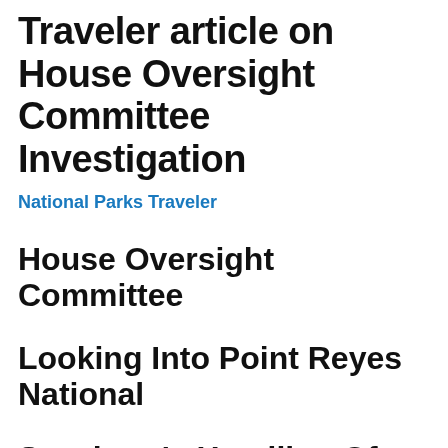Traveler article on House Oversight Committee Investigation
National Parks Traveler
House Oversight Committee
Looking Into Point Reyes National
Seashore's Handling Of Oyster
Farm Future